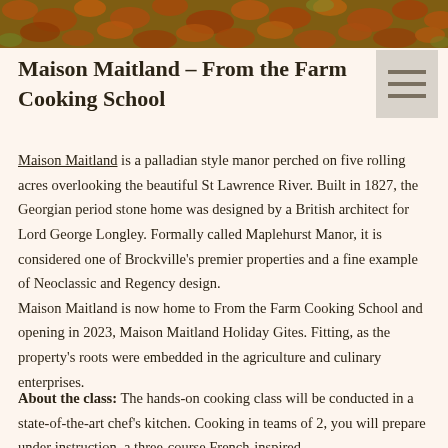[Figure (photo): Autumn leaves covering the ground, orange and reddish-brown colors, outdoor fall scene]
Maison Maitland – From the Farm Cooking School
Maison Maitland is a palladian style manor perched on five rolling acres overlooking the beautiful St Lawrence River. Built in 1827, the Georgian period stone home was designed by a British architect for Lord George Longley. Formally called Maplehurst Manor, it is considered one of Brockville's premier properties and a fine example of Neoclassic and Regency design.
Maison Maitland is now home to From the Farm Cooking School and opening in 2023, Maison Maitland Holiday Gites. Fitting, as the property's roots were embedded in the agriculture and culinary enterprises.
About the class: The hands-on cooking class will be conducted in a state-of-the-art chef's kitchen. Cooking in teams of 2, you will prepare under instruction, a three-course French-inspired